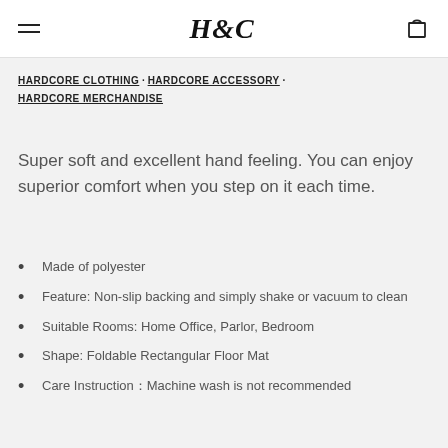H&C logo with hamburger menu and cart icon
HARDCORE CLOTHING · HARDCORE ACCESSORY · HARDCORE MERCHANDISE
Super soft and excellent hand feeling. You can enjoy superior comfort when you step on it each time.
Made of polyester
Feature: Non-slip backing and simply shake or vacuum to clean
Suitable Rooms: Home Office, Parlor, Bedroom
Shape: Foldable Rectangular Floor Mat
Care Instruction：Machine wash is not recommended